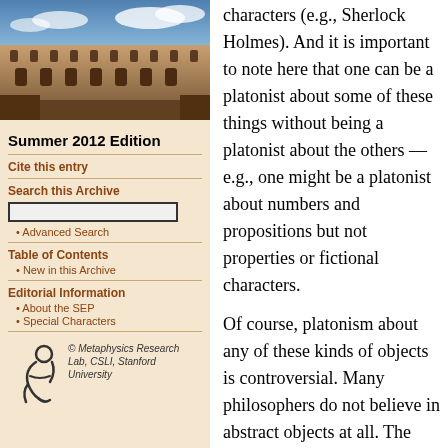[Figure (photo): Photograph of a university building with Gothic architecture and blue sky with clouds]
Summer 2012 Edition
Cite this entry
Search this Archive
Advanced Search
Table of Contents
New in this Archive
Editorial Information
About the SEP
Special Characters
[Figure (logo): Metaphysics Research Lab logo with stylized figure]
© Metaphysics Research Lab, CSLI, Stanford University
characters (e.g., Sherlock Holmes). And it is important to note here that one can be a platonist about some of these things without being a platonist about the others — e.g., one might be a platonist about numbers and propositions but not properties or fictional characters.
Of course, platonism about any of these kinds of objects is controversial. Many philosophers do not believe in abstract objects at all. The alternatives to platonism will be discussed in section 2, but it is worth noting here that the primary argument that platonists give for their view is